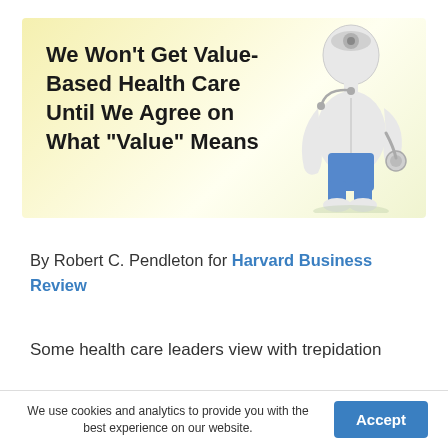[Figure (illustration): Yellow-toned banner with bold article title text on the left and a 3D cartoon doctor figure on the right holding a stethoscope.]
By Robert C. Pendleton for Harvard Business Review
Some health care leaders view with trepidation
We use cookies and analytics to provide you with the best experience on our website.